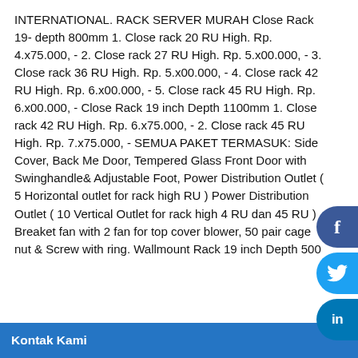INTERNATIONAL. RACK SERVER MURAH Close Rack 19- depth 800mm 1. Close rack 20 RU High. Rp. 4.x75.000, - 2. Close rack 27 RU High. Rp. 5.x00.000, - 3. Close rack 36 RU High. Rp. 5.x00.000, - 4. Close rack 42 RU High. Rp. 6.x00.000, - 5. Close rack 45 RU High. Rp. 6.x00.000, - Close Rack 19 inch Depth 1100mm 1. Close rack 42 RU High. Rp. 6.x75.000, - 2. Close rack 45 RU High. Rp. 7.x75.000, - SEMUA PAKET TERMASUK: Side Cover, Back Me Door, Tempered Glass Front Door with Swinghandle& Adjustable Foot, Power Distribution Outlet ( 5 Horizontal outlet for rack high RU ) Power Distribution Outlet ( 10 Vertical Outlet for rack high 4 RU dan 45 RU ) , Breaket fan with 2 fan for top cover blower, 50 pair cage nut & Screw with ring. Wallmount Rack 19 inch Depth 500
TAMPILKAN LEBIH BANYAK
PRODUK LAINNYA DARI PT. TRIKOMINDO
KARUNIA UTAMA
Kontak Kami